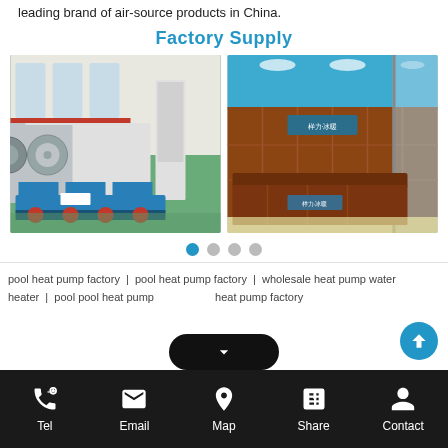leading brand of air-source products in China.
Factory Supply
[Figure (photo): Left: industrial heat pump equipment in a factory floor. Right: a company reception desk with wooden panel walls and glass partitions.]
pool heat pump factory | pool heat pump | wholesale heat pump water heater | pool pool heat pump factory
Tel | Email | Map | Share | Contact